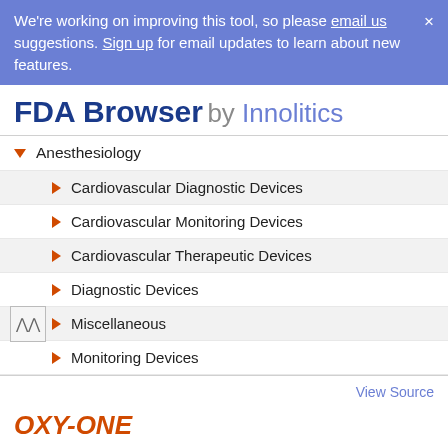We're working on improving this tool, so please email us suggestions. Sign up for email updates to learn about new features.
FDA Browser by Innolitics
▼ Anesthesiology
▶ Cardiovascular Diagnostic Devices
▶ Cardiovascular Monitoring Devices
▶ Cardiovascular Therapeutic Devices
▶ Diagnostic Devices
▶ Miscellaneous
▶ Monitoring Devices
View Source
OXY-ONE
Page Type   Cleared 510(K)
PDF   FDA Hosted PDF
* The FDA doesn't provide PDFs for all